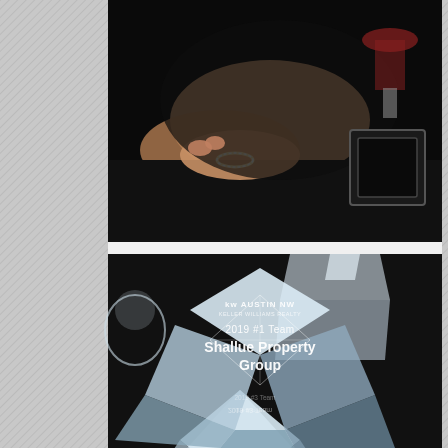[Figure (photo): Top photo: A person's arm and hand resting on a dark table at a formal event, with a wine glass visible in the upper right corner. The image is dark with a black background. Bottom photo: A crystal glass award cube sitting on a dark surface. The award reads 'KW AUSTIN NW KELLER WILLIAMS REALTY' at the top, then '2019 #1 Team' and 'Shallue Property Group' in large white engraved lettering. A reflection of the text is visible on the bottom face of the cube. Another crystal trophy piece is visible in the background.]